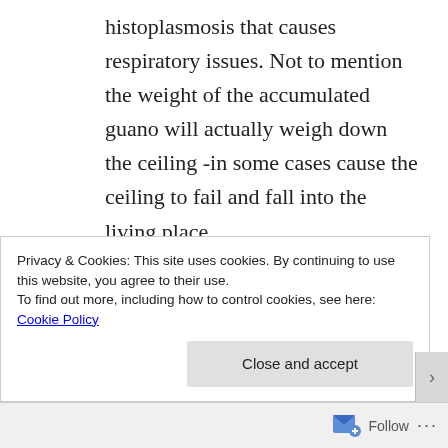histoplasmosis that causes respiratory issues. Not to mention the weight of the accumulated guano will actually weigh down the ceiling -in some cases cause the ceiling to fail and fall into the living place.
Bats also have another secret weapon in their arsenal. most
Privacy & Cookies: This site uses cookies. By continuing to use this website, you agree to their use.
To find out more, including how to control cookies, see here: Cookie Policy
Close and accept
Follow ···